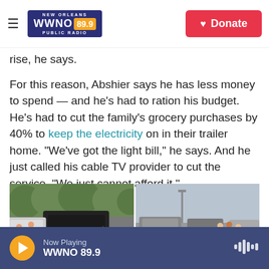NEW ORLEANS WWNO 89.9 PUBLIC RADIO | Donate
rise, he says.
For this reason, Abshier says he has less money to spend — and he's had to ration his budget. He's had to cut the family's grocery purchases by 40% to keep the electricity on in their trailer home. "We've got the light bill," he says. And he just called his cable TV provider to cut the service. "We just cannot afford it."
[Figure (photo): Two outdoor photos side by side showing a food distribution/food bank event in a parking lot with cars and people]
Now Playing WWNO 89.9